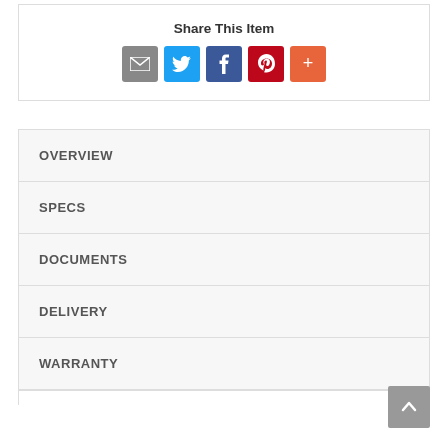Share This Item
[Figure (infographic): Social share icons: email (grey), Twitter (blue), Facebook (dark blue), Pinterest (red), More (orange)]
OVERVIEW
SPECS
DOCUMENTS
DELIVERY
WARRANTY